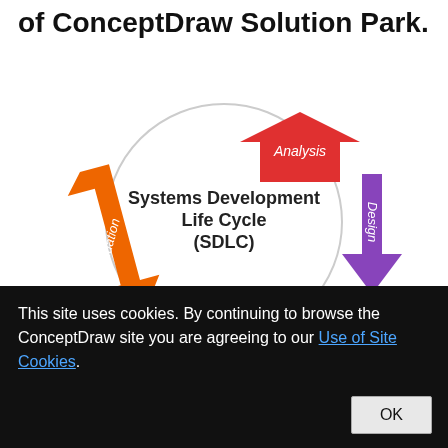of ConceptDraw Solution Park.
[Figure (flowchart): Circular diagram showing Systems Development Life Cycle (SDLC) with four colored arrow stages: Analysis (red, pointing right), Design (purple, pointing down), a green arrow (bottom right), Evaluation (orange, pointing up-left), and a yellow/gold arrow (bottom left). The center text reads 'Systems Development Life Cycle (SDLC)' with a grey circle outline connecting the arrows.]
This site uses cookies. By continuing to browse the ConceptDraw site you are agreeing to our Use of Site Cookies.
OK